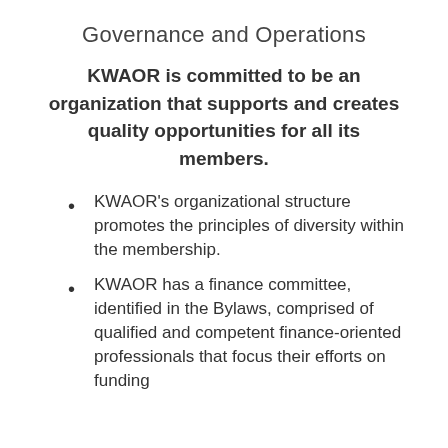Governance and Operations
KWAOR is committed to be an organization that supports and creates quality opportunities for all its members.
KWAOR's organizational structure promotes the principles of diversity within the membership.
KWAOR has a finance committee, identified in the Bylaws, comprised of qualified and competent finance-oriented professionals that focus their efforts on funding